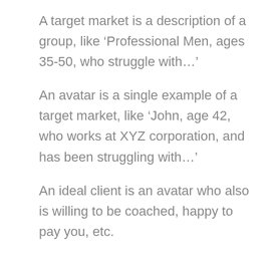A target market is a description of a group, like ‘Professional Men, ages 35-50, who struggle with…’
An avatar is a single example of a target market, like ‘John, age 42, who works at XYZ corporation, and has been struggling with…’
An ideal client is an avatar who also is willing to be coached, happy to pay you, etc.